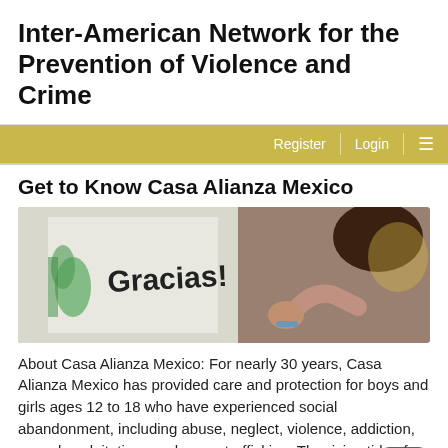Inter-American Network for the Prevention of Violence and Crime
Register  Login  ☰
Get to Know Casa Alianza Mexico
[Figure (photo): A person writing 'Gracias!' in large letters on a whiteboard or mural surface.]
About Casa Alianza Mexico: For nearly 30 years, Casa Alianza Mexico has provided care and protection for boys and girls ages 12 to 18 who have experienced social abandonment, including abuse, neglect, violence, addiction, sexual exploitation and human trafficking. The rising tide of violence and instability in Mexico over recent years has made their work even more urgent, and so the ongoing influx of unaccompanied migrant children from...